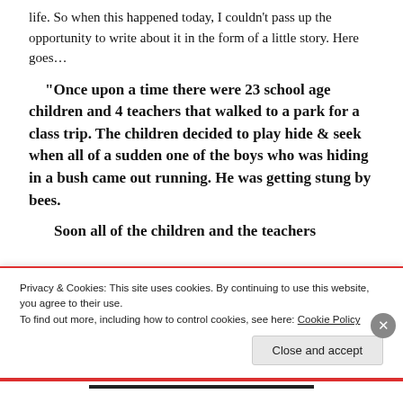life. So when this happened today, I couldn't pass up the opportunity to write about it in the form of a little story. Here goes…
“Once upon a time there were 23 school age children and 4 teachers that walked to a park for a class trip. The children decided to play hide & seek when all of a sudden one of the boys who was hiding in a bush came out running. He was getting stung by bees.
Soon all of the children and the teachers
Privacy & Cookies: This site uses cookies. By continuing to use this website, you agree to their use.
To find out more, including how to control cookies, see here: Cookie Policy
Close and accept